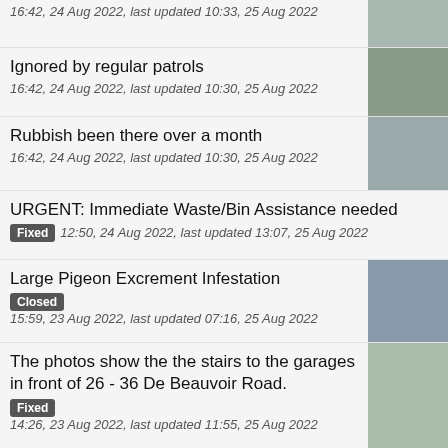Ignored by regular patrols
16:42, 24 Aug 2022, last updated 10:30, 25 Aug 2022
Rubbish been there over a month
16:42, 24 Aug 2022, last updated 10:30, 25 Aug 2022
URGENT: Immediate Waste/Bin Assistance needed
Fixed  12:50, 24 Aug 2022, last updated 13:07, 25 Aug 2022
Large Pigeon Excrement Infestation
Closed  15:59, 23 Aug 2022, last updated 07:16, 25 Aug 2022
The photos show the the stairs to the garages in front of 26 - 36 De Beauvoir Road.
Fixed  14:26, 23 Aug 2022, last updated 11:55, 25 Aug 2022
5 bags have been dumped on the corner of the